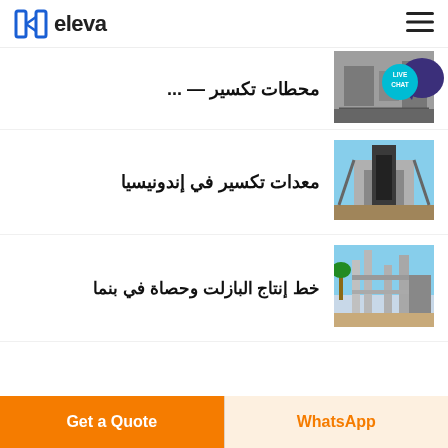eleva
[Figure (screenshot): Live chat bubble icon in teal/purple]
Arabic text (partially visible, cropped at top)
[Figure (photo): Industrial crushing/processing facility building]
معدات تكسير في إندونيسيا
[Figure (photo): Industrial basalt production line with piping]
خط إنتاج البازلت وحصاة في بنما
Get a Quote | WhatsApp